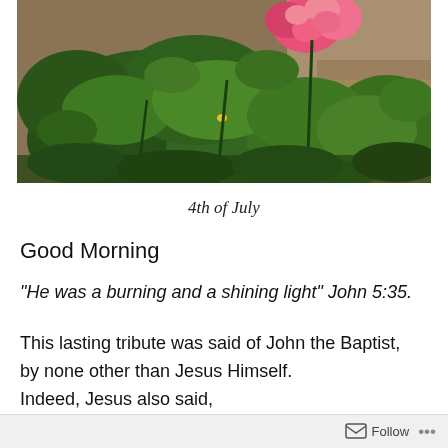[Figure (photo): Outdoor photo of a rose bush with large green leaves and pink/red roses blooming, with sandy dry soil visible in the background, taken in bright sunlight.]
4th of July
Good Morning
“He was a burning and a shining light” John 5:35.
This lasting tribute was said of John the Baptist, by none other than Jesus Himself.
Indeed, Jesus also said,
Follow ...